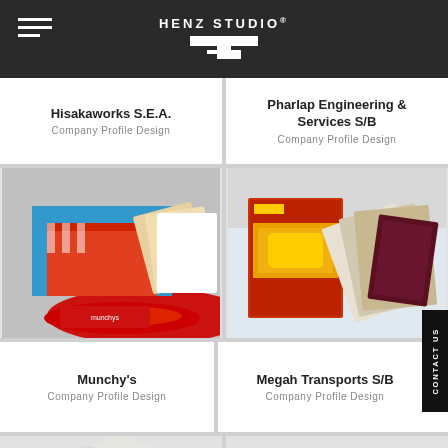HENZ STUDIO®
Hisakaworks S.E.A.
Company Profile Design
Pharlap Engineering & Services S/B
Company Profile Design
[Figure (photo): Munchy's company profile brochure design showing colorful red promotional materials and building imagery]
[Figure (photo): Megah Transports S/B company profile brochure design showing yellow machinery and printed materials]
Munchy's
Company Profile Design
Megah Transports S/B
Company Profile Design
[Figure (photo): Partially visible image at bottom left]
[Figure (photo): Partially visible image at bottom right]